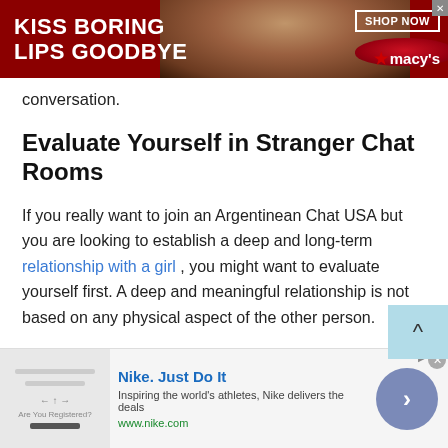[Figure (screenshot): Macy's advertisement banner: red background with woman's face and red lips, text 'KISS BORING LIPS GOODBYE', 'SHOP NOW' button, Macy's star logo]
conversation.
Evaluate Yourself in Stranger Chat Rooms
If you really want to join an Argentinean Chat USA but you are looking to establish a deep and long-term relationship with a girl , you might want to evaluate yourself first. A deep and meaningful relationship is not based on any physical aspect of the other person.
If you feel like people only speak to you because of your
[Figure (screenshot): Nike advertisement: 'Nike. Just Do It' with description 'Inspiring the world's athletes, Nike delivers the deals', www.nike.com URL, with arrow button and close button]